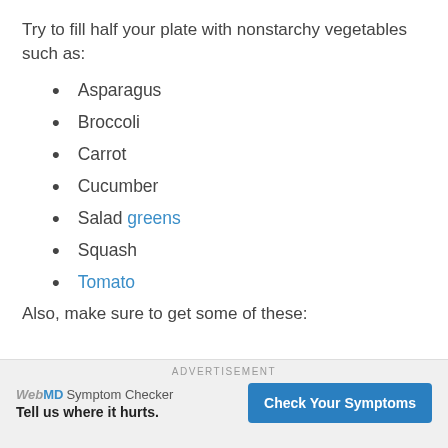Try to fill half your plate with nonstarchy vegetables such as:
Asparagus
Broccoli
Carrot
Cucumber
Salad greens
Squash
Tomato
Also, make sure to get some of these:
ADVERTISEMENT — WebMD Symptom Checker — Tell us where it hurts. — Check Your Symptoms